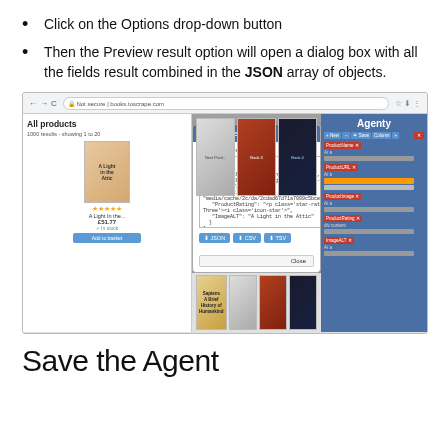Click on the Options drop-down button
Then the Preview result option will open a dialog box with all the fields result combined in the JSON array of objects.
[Figure (screenshot): Screenshot of a web browser showing the books.toscrape.com website with Agenty extension open. A modal dialog titled 'Agenty - Preview Result' is displayed showing JSON output with product fields including ProductName, ProductURL, ProductImage, ProductRating, and ImageALT. The modal has JSON, CSV, and TRV download buttons and a Close button.]
Save the Agent